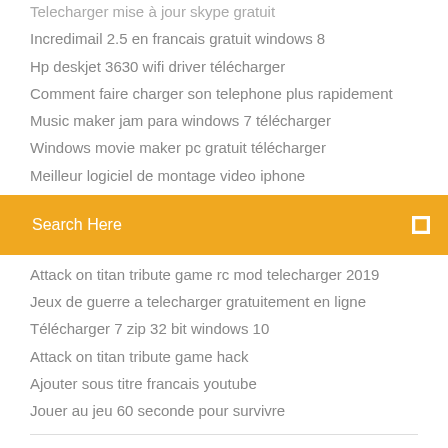Telecharger mise à jour skype gratuit
Incredimail 2.5 en francais gratuit windows 8
Hp deskjet 3630 wifi driver télécharger
Comment faire charger son telephone plus rapidement
Music maker jam para windows 7 télécharger
Windows movie maker pc gratuit télécharger
Meilleur logiciel de montage video iphone
Search Here
Attack on titan tribute game rc mod telecharger 2019
Jeux de guerre a telecharger gratuitement en ligne
Télécharger 7 zip 32 bit windows 10
Attack on titan tribute game hack
Ajouter sous titre francais youtube
Jouer au jeu 60 seconde pour survivre
https://www.falloutshelter.com/
f  t  ⊕  Be